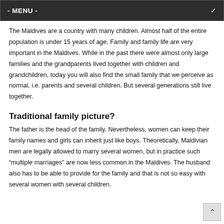- MENU -
The Maldives are a country with many children. Almost half of the entire population is under 15 years of age. Family and family life are very important in the Maldives. While in the past there were almost only large families and the grandparents lived together with children and grandchildren, today you will also find the small family that we perceive as normal, i.e. parents and several children. But several generations still live together.
Traditional family picture?
The father is the head of the family. Nevertheless, women can keep their family names and girls can inherit just like boys. Theoretically, Maldivian men are legally allowed to marry several women, but in practice such “multiple marriages” are now less common in the Maldives. The husband also has to be able to provide for the family and that is not so easy with several women with several children.